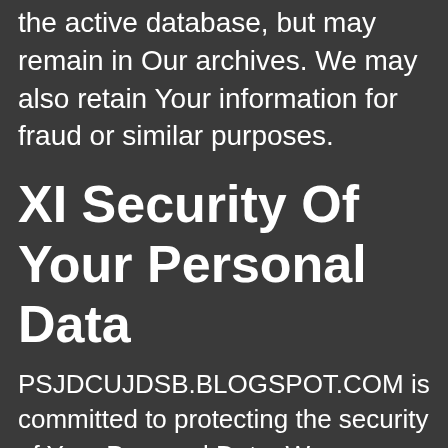the active database, but may remain in Our archives. We may also retain Your information for fraud or similar purposes.
XI Security Of Your Personal Data
PSJDCUJDSB.BLOGSPOT.COM is committed to protecting the security of Your Personal Data. We use a variety of industry-standard security technologies and procedures to help protect Your Personal Data from unauthorized access, use, or disclosure. We also require You to enter a password to access Your